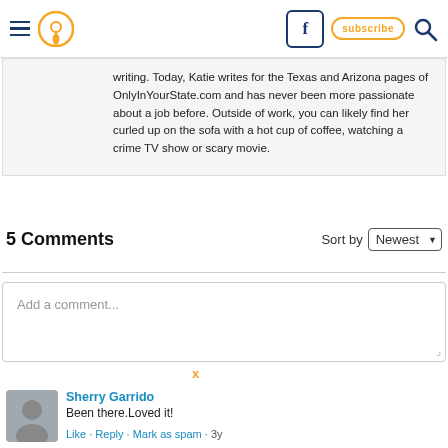Navigation bar with hamburger menu, pin logo, Facebook button, subscribe button, search icon
writing. Today, Katie writes for the Texas and Arizona pages of OnlyInYourState.com and has never been more passionate about a job before. Outside of work, you can likely find her curled up on the sofa with a hot cup of coffee, watching a crime TV show or scary movie.
5 Comments
Sort by Newest
Add a comment...
Sherry Garrido
Been there.Loved it!
Like · Reply · Mark as spam · 3y